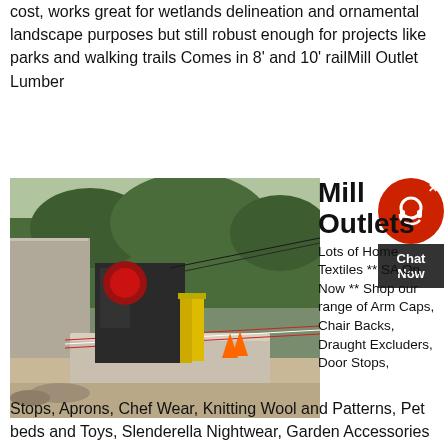cost, works great for wetlands delineation and ornamental landscape purposes but still robust enough for projects like parks and walking trails Comes in 8' and 10' railMill Outlet Lumber
[Figure (photo): Outdoor industrial/construction site photo showing large machinery and conveyor belt equipment with concrete barriers in the foreground, trees in background.]
Mill Outlets
Lots of Home Textiles ** SA On Now ** Shop our range of Arm Caps, Chair Backs, Draught Excluders, Door Stops, Aprons, Chef Wear, Knitting Wool and Patterns, Pet beds and Toys, Slenderella Nightwear, Garden Accessories Free UK Shipping over £40However, we are currently operating under a Provisional Schedule (See Below) Currently, certain businesses, such as ours, are now